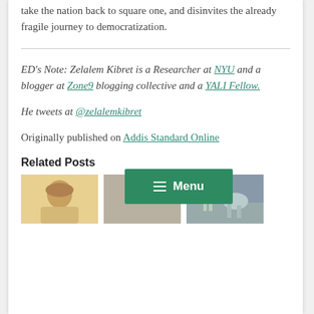take the nation back to square one, and disinvites the already fragile journey to democratization.
ED's Note: Zelalem Kibret is a Researcher at NYU and a blogger at Zone9 blogging collective and a YALI Fellow.
He tweets at @zelalemkibret
Originally published on Addis Standard Online
Related Posts
[Figure (photo): Thumbnail images of related posts with a green Menu button overlay]